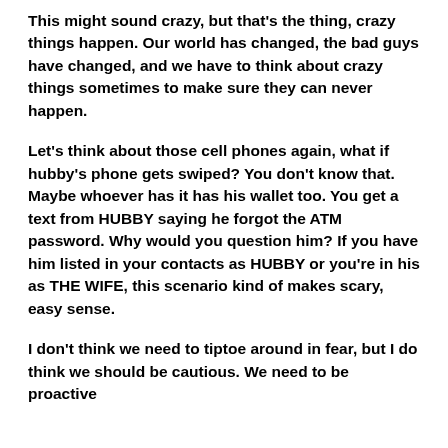This might sound crazy, but that's the thing, crazy things happen. Our world has changed, the bad guys have changed, and we have to think about crazy things sometimes to make sure they can never happen.
Let's think about those cell phones again, what if hubby's phone gets swiped? You don't know that. Maybe whoever has it has his wallet too. You get a text from HUBBY saying he forgot the ATM password. Why would you question him? If you have him listed in your contacts as HUBBY or you're in his as THE WIFE, this scenario kind of makes scary, easy sense.
I don't think we need to tiptoe around in fear, but I do think we should be cautious. We need to be proactive